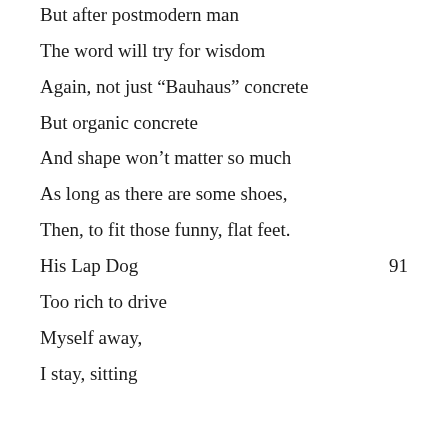But after postmodern man
The word will try for wisdom
Again, not just “Bauhaus” concrete
But organic concrete
And shape won’t matter so much
As long as there are some shoes,
Then, to fit those funny, flat feet.
His Lap Dog                                91
Too rich to drive
Myself away,
I stay, sitting